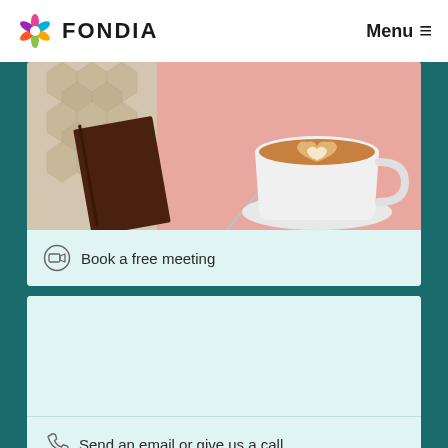FONDIA  Menu
[Figure (photo): Top-down photo of a latte art coffee cup on a pink background with a book/notebook beside it]
Book a free meeting
[Figure (photo): Light teal/mint colored empty content area]
Send an email or give us a call